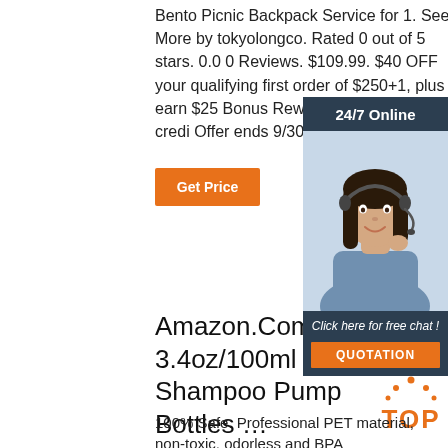Bento Picnic Backpack Service for 1. See More by tokyolongco. Rated 0 out of 5 stars. 0.0 0 Reviews. $109.99. $40 OFF your qualifying first order of $250+1, plus earn $25 Bonus Rewards with a Wayfair credi Offer ends 9/30. Free Shippin
[Figure (photo): Customer service representative widget with '24/7 Online' header, photo of smiling woman with headset, 'Click here for free chat!' text, and orange QUOTATION button on dark navy background]
Get Price
Amazon.Com : 3.4oz/100ml Plastic Shampoo Pump Bottles …
[Figure (logo): Orange TOP badge with decorative dots above]
100% Safe: Professional PET material, non-toxic, odorless and BPA